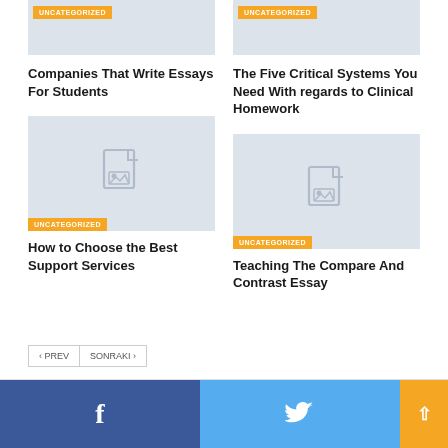[Figure (illustration): Gray placeholder image with UNCATEGORIZED badge (top left card)]
Companies That Write Essays For Students
[Figure (illustration): Gray placeholder image with UNCATEGORIZED badge (top right card)]
The Five Critical Systems You Need With regards to Clinical Homework
[Figure (illustration): Gray placeholder image with UNCATEGORIZED badge (bottom left card)]
How to Choose the Best Support Services
[Figure (illustration): Gray placeholder image with UNCATEGORIZED badge (bottom right card)]
Teaching The Compare And Contrast Essay
< PREV   SONRAKI >
[Figure (illustration): Facebook share button (blue) and Twitter share button (cyan) and scroll-up arrow button (orange)]